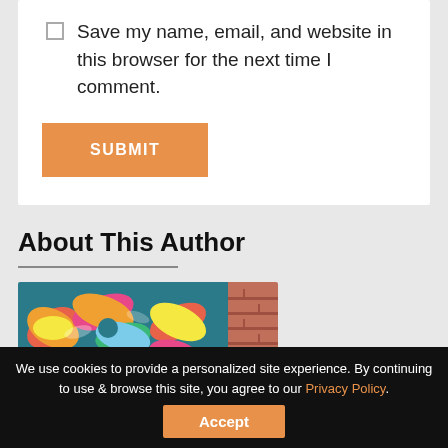Save my name, email, and website in this browser for the next time I comment.
SUBMIT
About This Author
[Figure (photo): Author photo in front of colorful floral mural and brick wall]
We use cookies to provide a personalized site experience. By continuing to use & browse this site, you agree to our Privacy Policy.
Accept